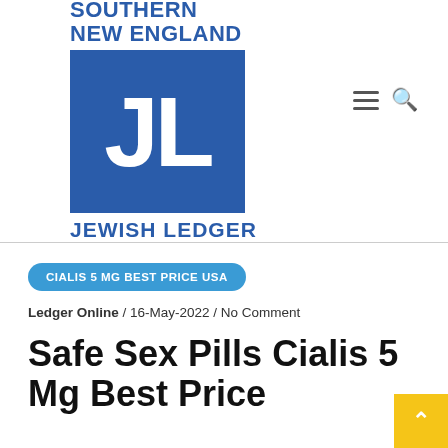[Figure (logo): Southern New England Jewish Ledger logo with 'JL' in a blue square and text above and below]
CIALIS 5 MG BEST PRICE USA
Ledger Online / 16-May-2022 / No Comment
Safe Sex Pills Cialis 5 Mg Best Price